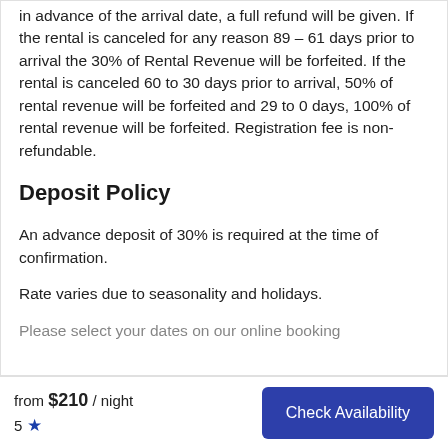in advance of the arrival date, a full refund will be given. If the rental is canceled for any reason 89 – 61 days prior to arrival the 30% of Rental Revenue will be forfeited. If the rental is canceled 60 to 30 days prior to arrival, 50% of rental revenue will be forfeited and 29 to 0 days, 100% of rental revenue will be forfeited. Registration fee is non-refundable.
Deposit Policy
An advance deposit of 30% is required at the time of confirmation.
Rate varies due to seasonality and holidays.
Please select your dates on our online booking
from $210 / night  5 ★  Check Availability